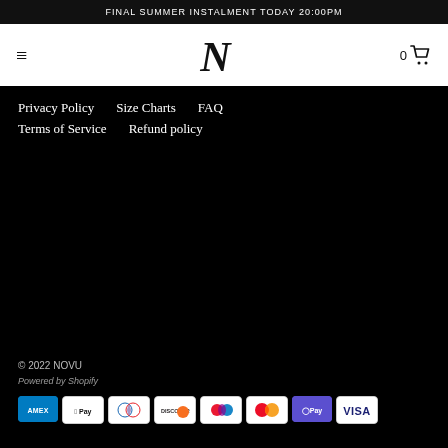FINAL SUMMER INSTALMENT TODAY 20:00PM
[Figure (logo): NOVU brand logo with stylized N, hamburger menu icon on left, cart icon on right showing 0 items]
Privacy Policy
Size Charts
FAQ
Terms of Service
Refund policy
© 2022 NOVU
Powered by Shopify
[Figure (infographic): Payment method icons: AMEX, Apple Pay, Diners Club, Discover, Elo, Mastercard, OPay, Visa]